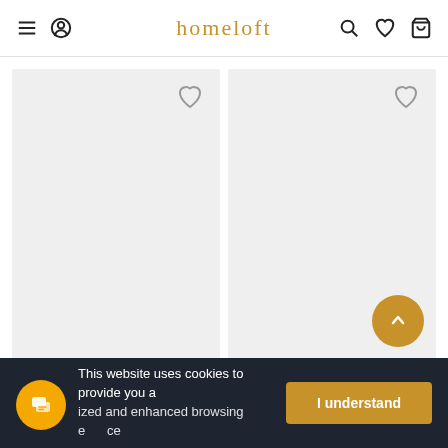homeloft - navigation bar with menu, account, search, wishlist, cart icons
[Figure (screenshot): Two product cards with grey placeholder backgrounds and heart/wishlist icons in top right corners. A scroll-to-top circular button appears at bottom right of second card.]
This website uses cookies to provide you a ized and enhanced browsing e ce
[Figure (other): Cookie consent bar with text and 'I understand' button. Chat widget button at bottom left.]